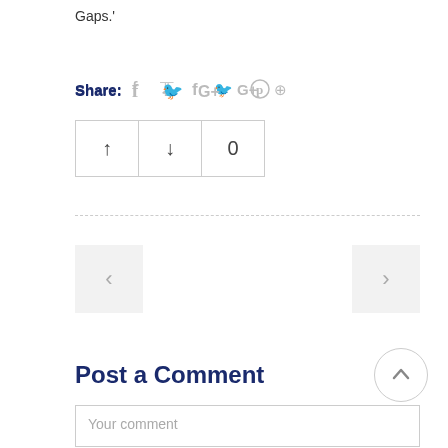Gaps.'
Share:
[Figure (other): Social media share icons: Facebook, Twitter, Google+, Pinterest]
[Figure (other): Vote up arrow, vote down arrow, and count 0 in bordered cells]
[Figure (other): Dashed horizontal separator line]
[Figure (other): Previous navigation button with left angle bracket]
[Figure (other): Next navigation button with right angle bracket]
[Figure (other): Scroll to top circular button with up arrow]
Post a Comment
Your comment